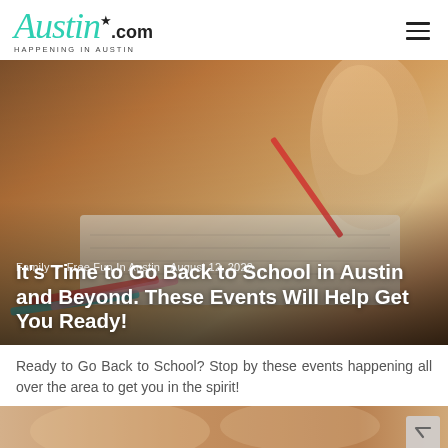Austin.com — HAPPENING IN AUSTIN
[Figure (photo): Close-up photo of a child's hands writing in a notebook with a red pencil, surrounded by colorful markers/pencils on a desk. Hero image for back-to-school article.]
Family  •  Free Fun In Austin - August 12, 2022
It's Time to Go Back to School in Austin and Beyond. These Events Will Help Get You Ready!
Ready to Go Back to School? Stop by these events happening all over the area to get you in the spirit!
[Figure (photo): Partial thumbnail strip at bottom of page showing a blurred back-to-school related image.]